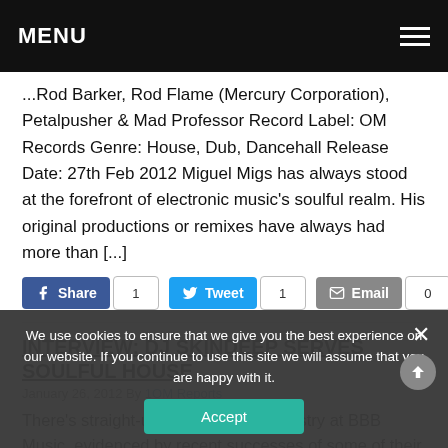MENU
...Rod Barker, Rod Flame (Mercury Corporation), Petalpusher & Mad Professor Record Label: OM Records Genre: House, Dub, Dancehall Release Date: 27th Feb 2012 Miguel Migs has always stood at the forefront of electronic music's soulful realm. His original productions or remixes have always had more than [...]
Share 1 | Tweet 1 | Email 0
INTERVIEW: DJ SKINDEEP SERVES SOULFUL HOUSE
January 26, 2012 By 1OM Reports
There's straight-up innovation and artistry at BBB Music, evidenced by recent successes of some of their artists
We use cookies to ensure that we give you the best experience on our website. If you continue to use this site we will assume that you are happy with it.
Accept